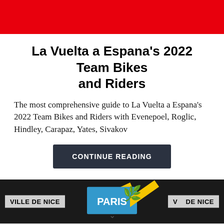[Figure (photo): Red banner/header strip at top of page]
La Vuelta a Espana's 2022 Team Bikes and Riders
The most comprehensive guide to La Vuelta a Espana's 2022 Team Bikes and Riders with Evenepoel, Roglic, Hindley, Carapaz, Yates, Sivakov
CONTINUE READING
[Figure (photo): Photo strip showing cyclists at Ville de Nice with banners on both sides and a blue sign in the center]